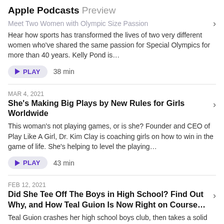Apple Podcasts Preview
Meet Two Women with Olympic Size Passion
Hear how sports has transformed the lives of two very different women who've shared the same passion for Special Olympics for more than 40 years. Kelly Pond is…
PLAY  38 min
MAR 4, 2021
She's Making Big Plays by New Rules for Girls Worldwide
This woman's not playing games, or is she? Founder and CEO of Play Like A Girl, Dr. Kim Clay is coaching girls on how to win in the game of life. She's helping to level the playing…
PLAY  43 min
FEB 12, 2021
Did She Tee Off The Boys in High School? Find Out Why, and How Teal Guion Is Now Right on Course…
Teal Guion crashes her high school boys club, then takes a solid swing at golf as a career. This mom to a special needs daughter is now teaching lessons that are right on course…
PLAY  31 min